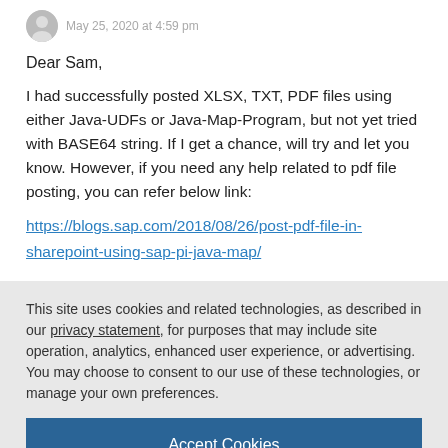May 25, 2020 at 4:59 pm
Dear Sam,
I had successfully posted XLSX, TXT, PDF files using either Java-UDFs or Java-Map-Program, but not yet tried with BASE64 string. If I get a chance, will try and let you know. However, if you need any help related to pdf file posting, you can refer below link:
https://blogs.sap.com/2018/08/26/post-pdf-file-in-sharepoint-using-sap-pi-java-map/
This site uses cookies and related technologies, as described in our privacy statement, for purposes that may include site operation, analytics, enhanced user experience, or advertising. You may choose to consent to our use of these technologies, or manage your own preferences.
Accept Cookies
More Information
Privacy Policy | Powered by: TrustArc
Thank you Dilin for you quick response. Could you direct me...